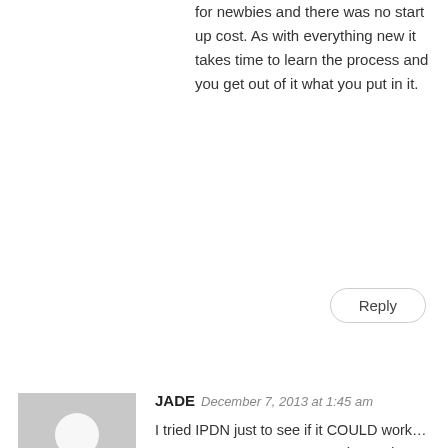for newbies and there was no start up cost. As with everything new it takes time to learn the process and you get out of it what you put in it.
Reply
[Figure (illustration): Generic user avatar placeholder: gray square with white silhouette of a person]
JADE  December 7, 2013 at 1:45 am
I tried IPDN just to see if it COULD work… start up cost was zero… you do need to have a credit card to complete the offers… i completed step one for free… got paid $25… i then used that money to complete a couple of trials on level 2 that i really was interested… the free